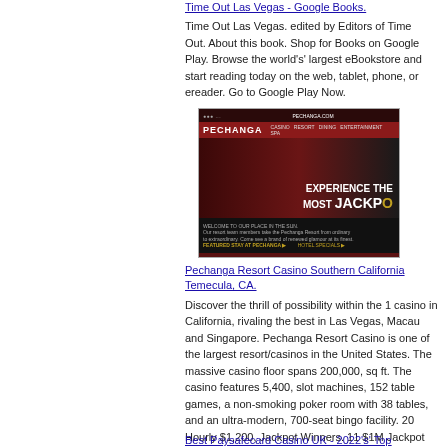Time Out Las Vegas - Google Books.
Time Out Las Vegas. edited by Editors of Time Out. About this book. Shop for Books on Google Play. Browse the world's' largest eBookstore and start reading today on the web, tablet, phone, or ereader. Go to Google Play Now.
[Figure (screenshot): Screenshot of Pechanga Resort Casino website showing a couple at slot machines with text 'EXPERIENCE THE MOST JACKPO' on a dark red background]
Pechanga Resort Casino Southern California Temecula, CA.
Discover the thrill of possibility within the 1 casino in California, rivaling the best in Las Vegas, Macau and Singapore. Pechanga Resort Casino is one of the largest resort/casinos in the United States. The massive casino floor spans 200,000, sq ft. The casino features 5,400, slot machines, 152 table games, a non-smoking poker room with 38 tables, and an ultra-modern, 700-seat bingo facility. 20 Hourly $1,200, Jackpot Winners. 11 $1M Jackpot Winners. View all events. Live to Rock Featuring Skid Row and Warrant.
Best Paysafecard Casino UK - 2022's' Top